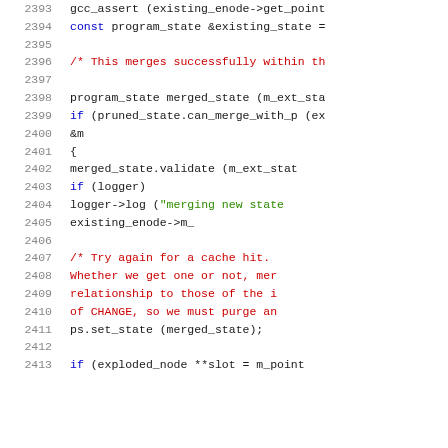[Figure (screenshot): Source code listing showing C++ code with line numbers 2393-2413, syntax highlighted with keywords in blue, comments in red, and string literals in green.]